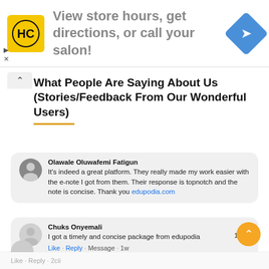[Figure (screenshot): Advertisement banner: HC logo (yellow square with HC text), ad text 'View store hours, get directions, or call your salon!' and a blue diamond navigation icon on the right. Small play and close controls on the left.]
What People Are Saying About Us (Stories/Feedback From Our Wonderful Users)
Olawale Oluwafemi Fatigun
It's indeed a great platform. They really made my work easier with the e-note I got from them. Their response is topnotch and the note is concise. Thank you edupodia.com
Chuks Onyemali
I got a timely and concise package from edupodia
Like · Reply · Message · 1w